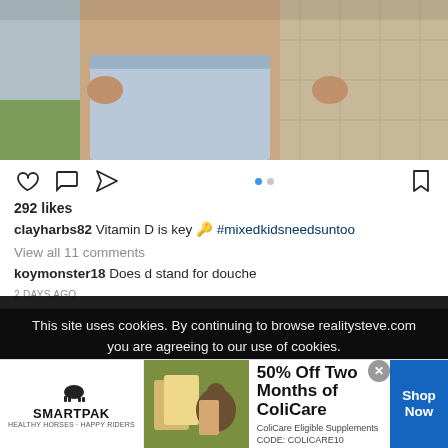[Figure (photo): Instagram post image showing person in light blue/grey shorts from waist down, outdoor tiled surface visible]
292 likes
clayharbs82 Vitamin D is key 🔑 #mixedkidsneedsuntoo
View all 11 comments
koymonster18 Does d stand for douche
2 DAYS AGO
This site uses cookies. By continuing to browse realitysteve.com you are agreeing to our use of cookies.
Do Not Sell My Personal Information
Privacy Preferences
[Figure (advertisement): SmartPak ad: 50% Off Two Months of ColiCare, ColiCare Eligible Supplements CODE: COLICARE10, Shop Now button]